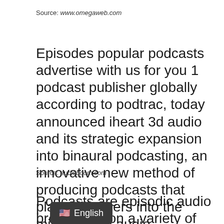Source: www.omegaweb.com
Episodes popular podcasts advertise with us for you 1 podcast publisher globally according to podtrac, today announced iheart 3d audio and its strategic expansion into binaural podcasting, an innovative new method of producing podcasts that places listeners into the middle of an audio soundscape, immersing them in the story like never before.
Source: audioboom.com
Podcasts are episodic audio broadcasts on a variety of topics. By the end of 2021, iheart.
English